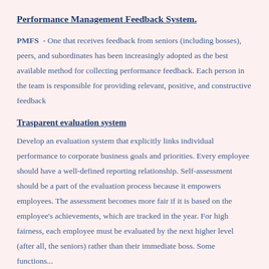Performance Management Feedback System.
PMFS  - One that receives feedback from seniors (including bosses), peers, and subordinates has been increasingly adopted as the best available method for collecting performance feedback. Each person in the team is responsible for providing relevant, positive, and constructive feedback
Trasparent evaluation system
Develop an evaluation system that explicitly links individual performance to corporate business goals and priorities. Every employee should have a well-defined reporting relationship. Self-assessment should be a part of the evaluation process because it empowers employees. The assessment becomes more fair if it is based on the employee's achievements, which are tracked in the year. For high fairness, each employee must be evaluated by the next higher level (after all, the seniors) rather than their immediate boss. Some functions...